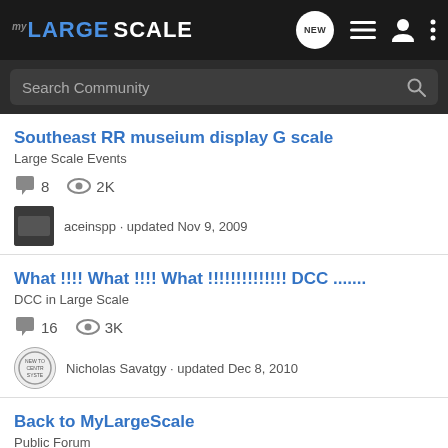MY LARGE SCALE
Search Community
Southeast RR museium display G scale
Large Scale Events
8 comments, 2K views
aceinspp · updated Nov 9, 2009
What !!!! What !!!! What !!!!!!!!!!!!!! DCC .......
DCC in Large Scale
16 comments, 3K views
Nicholas Savatgy · updated Dec 8, 2010
Back to MyLargeScale
Public Forum